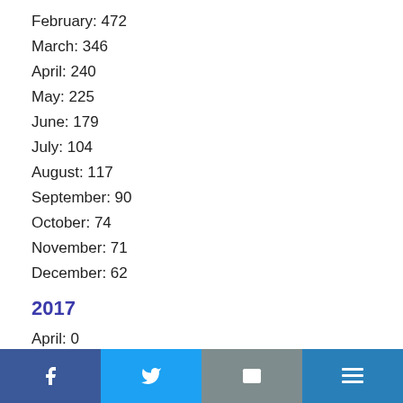February: 472
March: 346
April: 240
May: 225
June: 179
July: 104
August: 117
September: 90
October: 74
November: 71
December: 62
2017
April: 0
May: 90
June: 10
July: 25
August: 4
Facebook | Twitter | Email | Menu